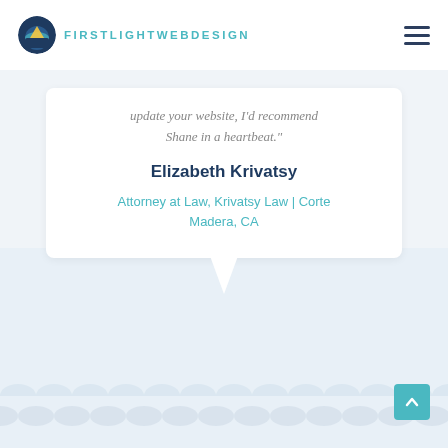FIRSTLIGHTWEBDESIGN
update your website, I'd recommend Shane in a heartbeat."
Elizabeth Krivatsy
Attorney at Law, Krivatsy Law | Corte Madera, CA
[Figure (illustration): Wave/scallop decorative bottom border on light blue background, with speech bubble tail below testimonial card]